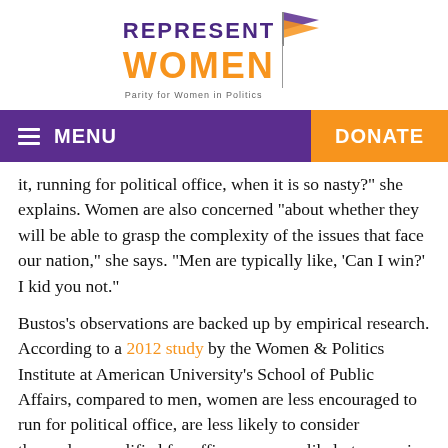[Figure (logo): RepresentWomen logo with 'REPRESENT' in purple bold text, 'WOMEN' in orange bold text, tagline 'Parity for Women in Politics' and a stylized blue/orange flag icon]
MENU   DONATE
it, running for political office, when it is so nasty?" she explains. Women are also concerned "about whether they will be able to grasp the complexity of the issues that face our nation," she says. "Men are typically like, 'Can I win?' I kid you not."
Bustos's observations are backed up by empirical research. According to a 2012 study by the Women & Politics Institute at American University's School of Public Affairs, compared to men, women are less encouraged to run for political office, are less likely to consider themselves qualified for office, are more likely to perceive a negative bias from